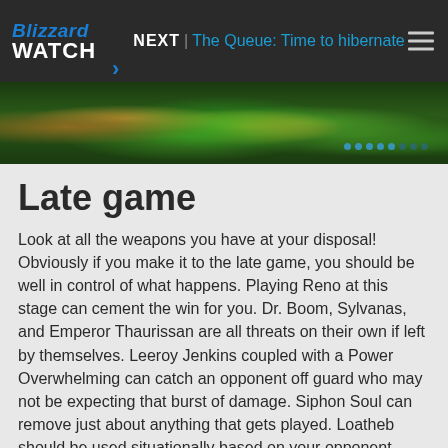Blizzard WATCH > NEXT | The Queue: Time to hibernate
[Figure (screenshot): Hearthstone game screenshot showing late game board state with cards and green glowing effects]
Late game
Look at all the weapons you have at your disposal! Obviously if you make it to the late game, you should be well in control of what happens. Playing Reno at this stage can cement the win for you. Dr. Boom, Sylvanas, and Emperor Thaurissan are all threats on their own if left by themselves. Leeroy Jenkins coupled with a Power Overwhelming can catch an opponent off guard who may not be expecting that burst of damage. Siphon Soul can remove just about anything that gets played. Loatheb should be used situationally based on your opponent. Lord Jaraxxus is another finisher in the event you run out of actual cards. The updated hero power means you